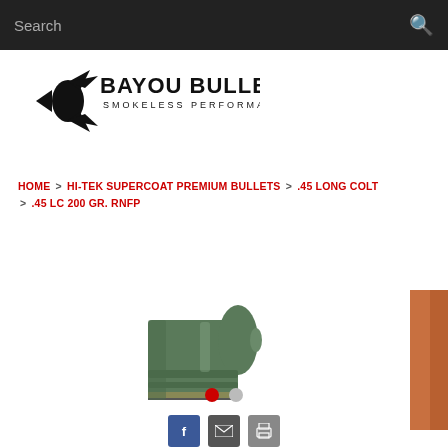Search
[Figure (logo): Bayou Bullets logo — bullet graphic with text BAYOU BULLETS / SMOKELESS PERFORMANCE]
HOME > HI-TEK SUPERCOAT PREMIUM BULLETS > .45 LONG COLT > .45 LC 200 GR. RNFP
[Figure (photo): Green-coated .45 Long Colt RNFP bullet, front view showing flat point, with carousel showing partial second image on right edge]
[Figure (infographic): Carousel dot indicators: one red active dot and one grey inactive dot]
[Figure (infographic): Social share icons: Facebook (blue f), Email (envelope), Print (printer)]